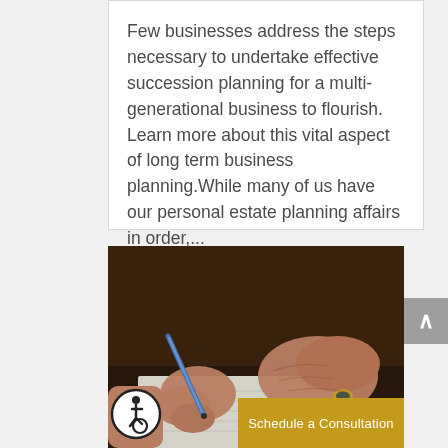Few businesses address the steps necessary to undertake effective succession planning for a multi-generational business to flourish. Learn more about this vital aspect of long term business planning.While many of us have our personal estate planning affairs in order,...
[Figure (photo): Elderly person's hands signing a document with a pen, wearing a gold ring, dark blurred background]
Schedule a Consultation